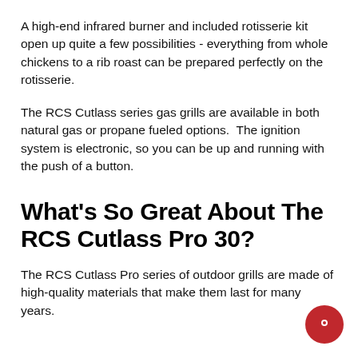A high-end infrared burner and included rotisserie kit open up quite a few possibilities - everything from whole chickens to a rib roast can be prepared perfectly on the rotisserie.
The RCS Cutlass series gas grills are available in both natural gas or propane fueled options.  The ignition system is electronic, so you can be up and running with the push of a button.
What's So Great About The RCS Cutlass Pro 30?
The RCS Cutlass Pro series of outdoor grills are made of high-quality materials that make them last for many years.